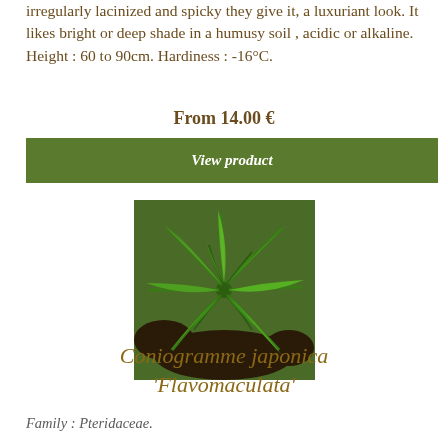irregularly lacinized and spicky they give it, a luxuriant look. It likes bright or deep shade in a humusy soil , acidic or alkaline. Height : 60 to 90cm. Hardiness : -16°C.
From 14.00 €
View product
[Figure (photo): Photo of a green fern plant (Coniogramme japonica 'Flavomaculata') with elongated green leaves spreading outward]
Coniogramme japonica 'Flavomaculata'
Family : Pteridaceae.